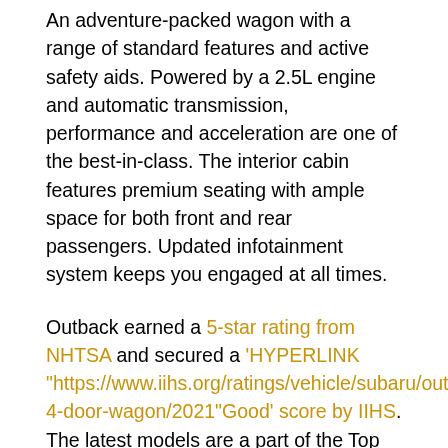An adventure-packed wagon with a range of standard features and active safety aids. Powered by a 2.5L engine and automatic transmission, performance and acceleration are one of the best-in-class. The interior cabin features premium seating with ample space for both front and rear passengers. Updated infotainment system keeps you engaged at all times.
Outback earned a 5-star rating from NHTSA and secured a 'HYPERLINK "https://www.iihs.org/ratings/vehicle/subaru/outback-4-door-wagon/2021"Good' score by IIHS. The latest models are a part of the Top Safety Pick+ cohort. The car equips a range of active safety features, including an EyeSight package, adaptive cruise control, lane keep